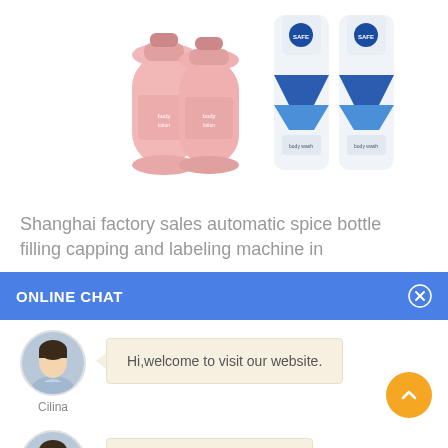[Figure (photo): Two pink lotion/shampoo bottles and two white/blue bottles of body wash or shampoo product on white background]
Shanghai factory sales automatic spice bottle filling capping and labeling machine in
ONLINE CHAT
[Figure (photo): Avatar photo of woman named Cilina in light blue shirt]
Hi,welcome to visit our website.
Cilina
[Figure (photo): Avatar photo of woman named Cilina in light blue shirt]
How can I help you today?
Cilina